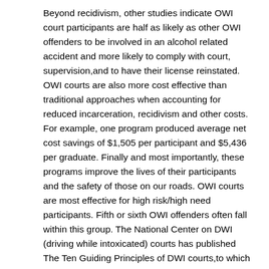Beyond recidivism, other studies indicate OWI court participants are half as likely as other OWI offenders to be involved in an alcohol related accident and more likely to comply with court, supervision,and to have their license reinstated. OWI courts are also more cost effective than traditional approaches when accounting for reduced incarceration, recidivism and other costs. For example, one program produced average net cost savings of $1,505 per participant and $5,436 per graduate. Finally and most importantly, these programs improve the lives of their participants and the safety of those on our roads. OWI courts are most effective for high risk/high need participants. Fifth or sixth OWI offenders often fall within this group. The National Center on DWI (driving while intoxicated) courts has published The Ten Guiding Principles of DWI courts,to which the most effective courts adhere. This recommends that programs focus on “offenders with the most serious criminal and dependency issues, who are most in need of treatment, and